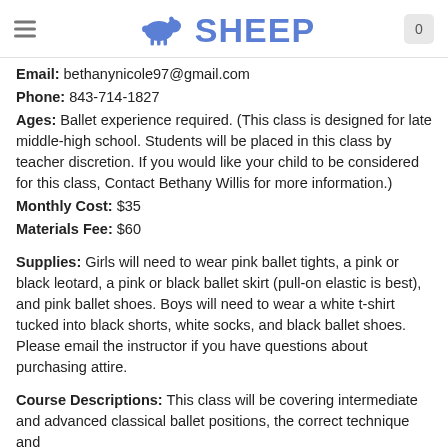SHEEP (logo with sheep icon, hamburger menu, cart icon showing 0)
Email: bethanynicole97@gmail.com
Phone: 843-714-1827
Ages: Ballet experience required. (This class is designed for late middle-high school. Students will be placed in this class by teacher discretion. If you would like your child to be considered for this class, Contact Bethany Willis for more information.)
Monthly Cost: $35
Materials Fee: $60
Supplies: Girls will need to wear pink ballet tights, a pink or black leotard, a pink or black ballet skirt (pull-on elastic is best), and pink ballet shoes. Boys will need to wear a white t-shirt tucked into black shorts, white socks, and black ballet shoes. Please email the instructor if you have questions about purchasing attire.
Course Descriptions: This class will be covering intermediate and advanced classical ballet positions, the correct technique and